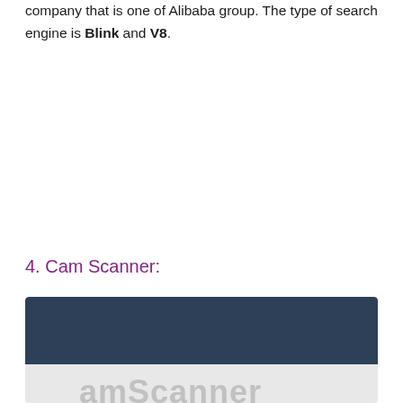company that is one of Alibaba group. The type of search engine is Blink and V8.
4. Cam Scanner:
[Figure (screenshot): Screenshot showing the CamScanner app interface with a dark blue header area and a grey lower area with the CamScanner logo/text visible, along with a green 'SCROLL TO TOP' button overlay.]